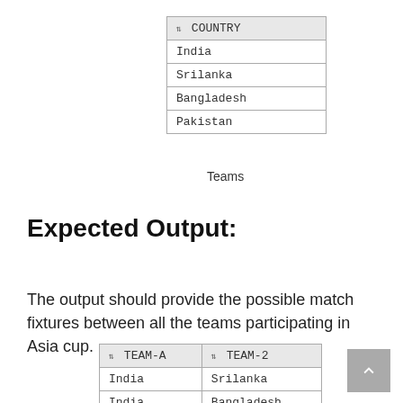| COUNTRY |
| --- |
| India |
| Srilanka |
| Bangladesh |
| Pakistan |
Teams
Expected Output:
The output should provide the possible match fixtures between all the teams participating in Asia cup.
| TEAM-A | TEAM-2 |
| --- | --- |
| India | Srilanka |
| India | Bangladesh |
| India | Pakistan |